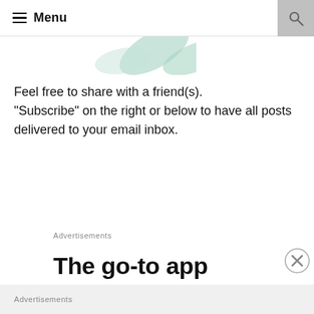Menu
[Figure (illustration): Partial decorative image with green leaf/foliage shapes visible at top of page]
Feel free to share with a friend(s). “Subscribe” on the right or below to have all posts delivered to your email inbox.
Advertisements
The go-to app
Advertisements